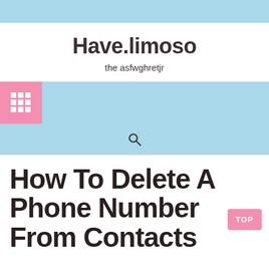Have.limoso
the asfwghretjr
[Figure (other): Navigation bar with pink grid/menu icon and search icon on light blue background]
How To Delete A Phone Number From Contacts